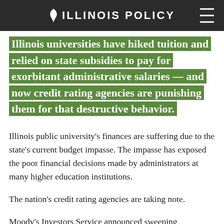ILLINOIS POLICY
Illinois universities have hiked tuition and relied on state subsidies to pay for exorbitant administrative salaries — and now credit rating agencies are punishing them for that destructive behavior.
Illinois public university's finances are suffering due to the state's current budget impasse. The impasse has exposed the poor financial decisions made by administrators at many higher education institutions.
The nation's credit rating agencies are taking note.
Moody's Investors Service announced sweeping